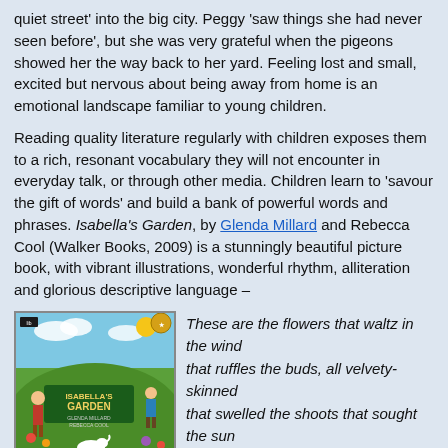quiet street' into the big city. Peggy 'saw things she had never seen before', but she was very grateful when the pigeons showed her the way back to her yard. Feeling lost and small, excited but nervous about being away from home is an emotional landscape familiar to young children.
Reading quality literature regularly with children exposes them to a rich, resonant vocabulary they will not encounter in everyday talk, or through other media. Children learn to 'savour the gift of words' and build a bank of powerful words and phrases. Isabella's Garden, by Glenda Millard and Rebecca Cool (Walker Books, 2009) is a stunningly beautiful picture book, with vibrant illustrations, wonderful rhythm, alliteration and glorious descriptive language –
[Figure (photo): Book cover of Isabella's Garden by Glenda Millard and Rebecca Cool, showing children and animals in a colorful garden scene]
These are the flowers that waltz in the wind
that ruffles the buds, all velvety-skinned
that swelled the shoots that sought the sun
that kissed the clouds that cried the rain